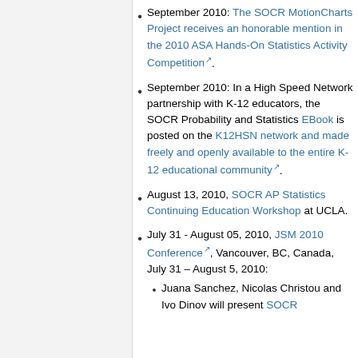September 2010: The SOCR MotionCharts Project receives an honorable mention in the 2010 ASA Hands-On Statistics Activity Competition.
September 2010: In a High Speed Network partnership with K-12 educators, the SOCR Probability and Statistics EBook is posted on the K12HSN network and made freely and openly available to the entire K-12 educational community.
August 13, 2010, SOCR AP Statistics Continuing Education Workshop at UCLA.
July 31 - August 05, 2010, JSM 2010 Conference, Vancouver, BC, Canada, July 31 – August 5, 2010:
Juana Sanchez, Nicolas Christou and Ivo Dinov will present SOCR